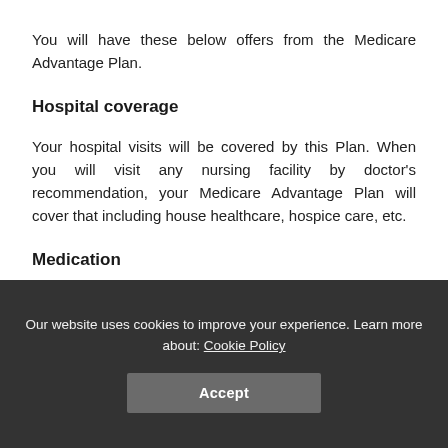You will have these below offers from the Medicare Advantage Plan.
Hospital coverage
Your hospital visits will be covered by this Plan. When you will visit any nursing facility by doctor's recommendation, your Medicare Advantage Plan will cover that including house healthcare, hospice care, etc.
Medication
Our website uses cookies to improve your experience. Learn more about: Cookie Policy
Accept